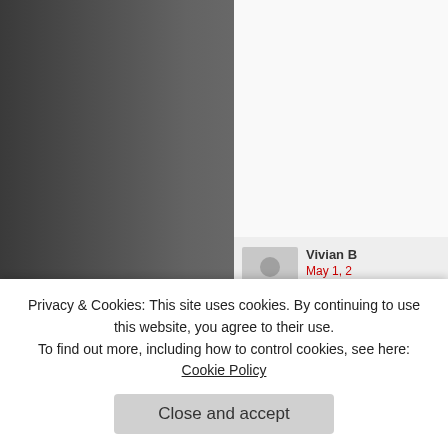[Figure (photo): Dark gray/torn background image on the left side of the page]
[Figure (screenshot): Website comment section showing user avatars, names, dates, comment text, like buttons and reply links]
Privacy & Cookies: This site uses cookies. By continuing to use this website, you agree to their use.
To find out more, including how to control cookies, see here: Cookie Policy
Close and accept